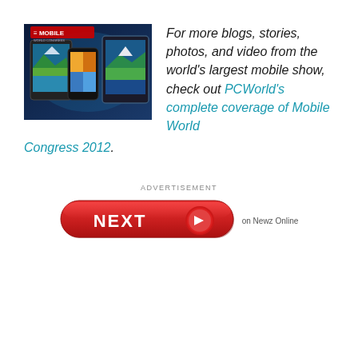[Figure (photo): Mobile World Congress promotional image showing smartphones and tablets with 'MOBILE' text logo]
For more blogs, stories, photos, and video from the world's largest mobile show, check out PCWorld's complete coverage of Mobile World Congress 2012.
ADVERTISEMENT
[Figure (other): Red pill-shaped NEXT button with right arrow, labeled 'on Newz Online']